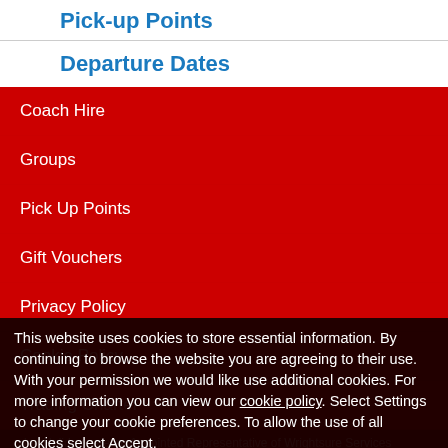Pick-up Points
Departure Dates
Coach Hire
Groups
Pick Up Points
Gift Vouchers
Privacy Policy
Cookie Policy
Trading Charter
This website uses cookies to store essential information. By continuing to browse the website you are agreeing to their use. With your permission we would like use additional cookies. For more information you can view our cookie policy. Select Settings to change your cookie preferences. To allow the use of all cookies select Accept.
Settings
Accept
den Holidays are an Appointed Representative of Wrightsure Services (Hampshire) Limited who are authorised and